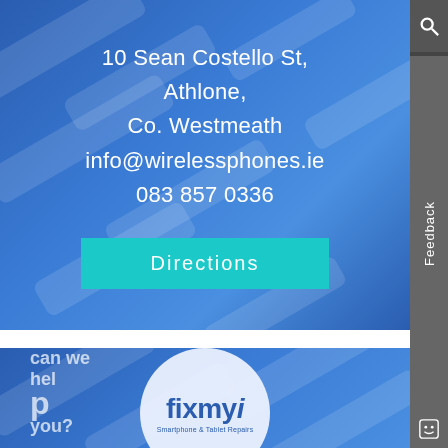[Figure (screenshot): Website screenshot showing contact information for a phone repair business on a blue background with diagonal phone/tablet images. Address: 10 Sean Costello St, Athlone, Co. Westmeath. Email: info@wirelessphones.ie. Phone: 083 857 0336. A teal 'Directions' button. Right sidebar with search icon, Feedback label, and smiley icon. Bottom half shows fixmyi Smartphone & Tablet Repairs logo in a white circle on a blue background with 'can we help you?' text.]